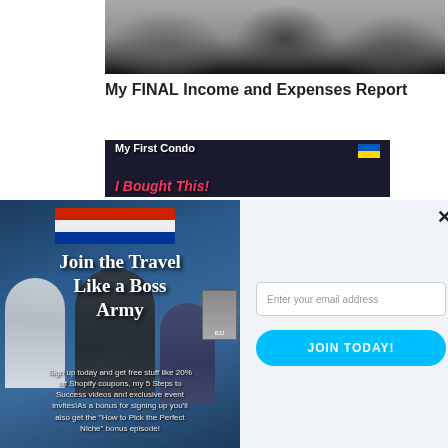[Figure (photo): Thumbnail photo of people at a dining table, blurred]
My FINAL Income and Expenses Report
[Figure (photo): Thumbnail image with text 'My First Condo I Bought This!' with Ukrainian flag icon]
[Figure (photo): Modal popup left panel showing martial arts figures with 'Join the Travel Like a Boss Army' text and sign-up description]
Join the Travel Like a Boss Army
Sign up today and get free stuff like 20% off Shopify coupons, my 5 Steps to Success videos and exclusive event invites!As a bonus for signing up you'll also get the "How to Pick the Perfect Niche" bonus episode!
Enter your email address
JOIN TODAY!